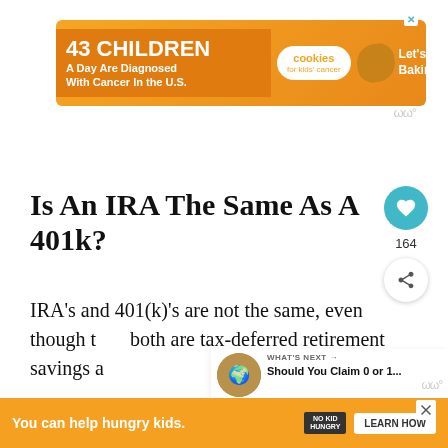[Figure (screenshot): Advertisement banner: '43 CHILDREN A Day Are Diagnosed With Cancer In the U.S.' with cookies for kids' cancer logo and 'Let's Get Baking' text]
Is An IRA The Same As A 401k?
IRA's and 401(k)'s are not the same, even though they both are tax-deferred retirement savings accounts.
401(k) is an employer sponsor plan. Therefore, you need to participate through your workplace.
[Figure (screenshot): Bottom advertisement: 'You can help hungry kids.' with No Kid Hungry logo and Learn How button]